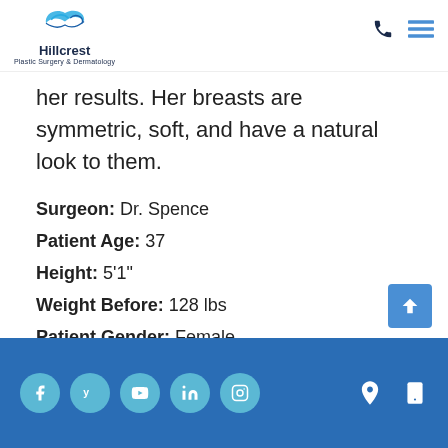Hillcrest Plastic Surgery & Dermatology
her results. Her breasts are symmetric, soft, and have a natural look to them.
Surgeon: Dr. Spence
Patient Age: 37
Height: 5'1"
Weight Before: 128 lbs
Patient Gender: Female
Social media icons: Facebook, Yelp, YouTube, LinkedIn, Instagram; Location and mobile icons